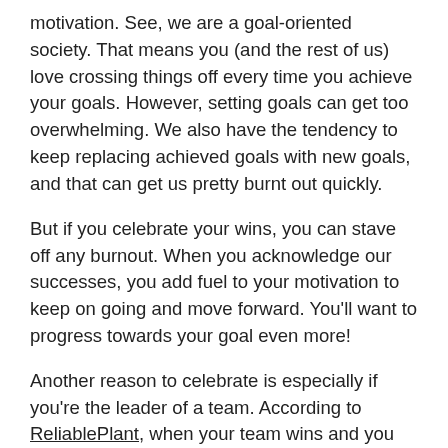motivation. See, we are a goal-oriented society. That means you (and the rest of us) love crossing things off every time you achieve your goals. However, setting goals can get too overwhelming. We also have the tendency to keep replacing achieved goals with new goals, and that can get us pretty burnt out quickly.
But if you celebrate your wins, you can stave off any burnout. When you acknowledge our successes, you add fuel to your motivation to keep on going and move forward. You'll want to progress towards your goal even more!
Another reason to celebrate is especially if you're the leader of a team. According to ReliablePlant, when your team wins and you celebrate it, your team members will feel appreciated (yes, even if they know they're on paid time). Think of it as practicing